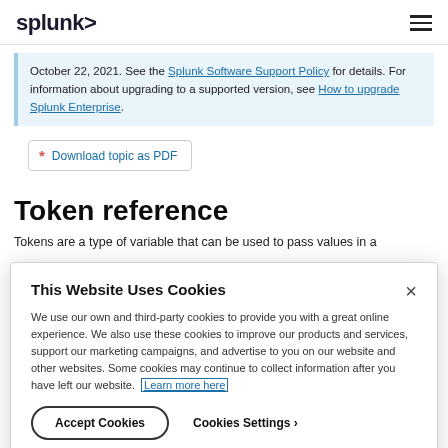splunk>
October 22, 2021. See the Splunk Software Support Policy for details. For information about upgrading to a supported version, see How to upgrade Splunk Enterprise.
Download topic as PDF
Token reference
Tokens are a type of variable that can be used to pass values in a
This Website Uses Cookies
We use our own and third-party cookies to provide you with a great online experience. We also use these cookies to improve our products and services, support our marketing campaigns, and advertise to you on our website and other websites. Some cookies may continue to collect information after you have left our website. Learn more here
Accept Cookies   Cookies Settings ›